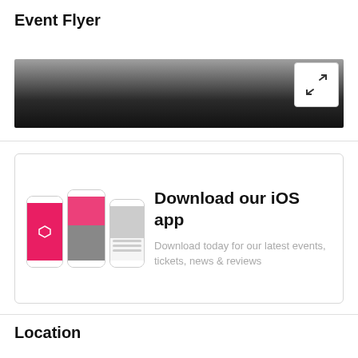Event Flyer
[Figure (photo): Broken image placeholder labeled 'Event Flyer' with a dark gradient image placeholder area showing a gradient from gray to black, with an expand/fullscreen button overlay in the top-right corner.]
[Figure (infographic): App promotional card with three smartphone mockups (one pink, one with concert photo, one with listing view) and text 'Download our iOS app — Download today for our latest events, tickets, news & reviews'.]
Location